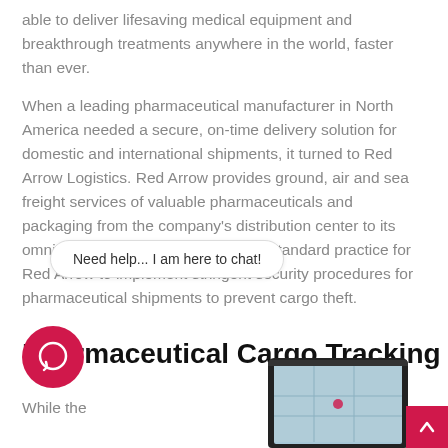able to deliver lifesaving medical equipment and breakthrough treatments anywhere in the world, faster than ever.
When a leading pharmaceutical manufacturer in North America needed a secure, on-time delivery solution for domestic and international shipments, it turned to Red Arrow Logistics. Red Arrow provides ground, air and sea freight services of valuable pharmaceuticals and packaging from the company's distribution center to its omni-channel fulfillment partner. It's standard practice for Red Arrow to implement stringent security procedures for pharmaceutical shipments to prevent cargo theft.
Pharmaceutical Cargo Tracking
While the